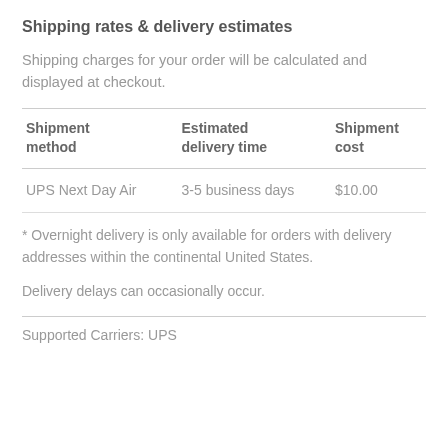Shipping rates & delivery estimates
Shipping charges for your order will be calculated and displayed at checkout.
| Shipment method | Estimated delivery time | Shipment cost |
| --- | --- | --- |
| UPS Next Day Air | 3-5 business days | $10.00 |
* Overnight delivery is only available for orders with delivery addresses within the continental United States.
Delivery delays can occasionally occur.
Supported Carriers: UPS